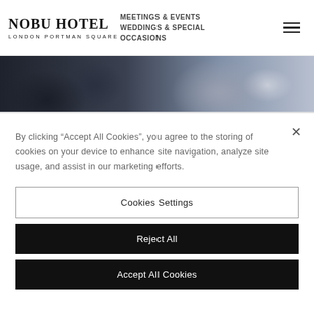[Figure (logo): Nobu Hotel London Portman Square logo — serif wordmark with 'NOBU HOTEL' in bold and 'LONDON PORTMAN SQUARE' in small caps below]
MEETINGS & EVENTS
WEDDINGS & SPECIAL OCCASIONS
[Figure (photo): Close-up photo of a conference room setup with dark leather chairs and tables, blurred background showing glasses or tableware]
By clicking “Accept All Cookies”, you agree to the storing of cookies on your device to enhance site navigation, analyze site usage, and assist in our marketing efforts.
Cookies Settings
Reject All
Accept All Cookies